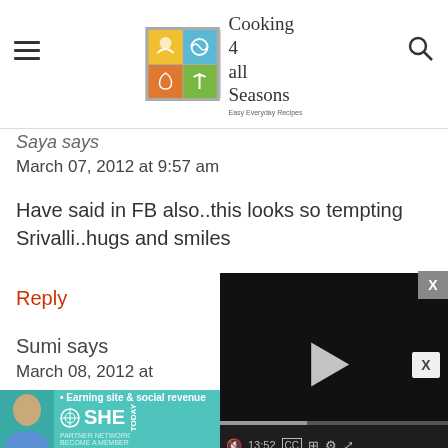Cooking 4 all Seasons - Easy Everyday Recipes
Saya says
March 07, 2012 at 9:57 am
Have said in FB also..this looks so tempting Srivalli..hugs and smiles
Reply
Sumi says
March 08, 2012 at
[Figure (screenshot): Video player overlay with play button, progress bar at 13:52, and controls including mute, CC, grid, settings, and fullscreen buttons]
[Figure (screenshot): Advertisement banner: SHE Partner Network - Earning site & social revenue, LEARN MORE button]